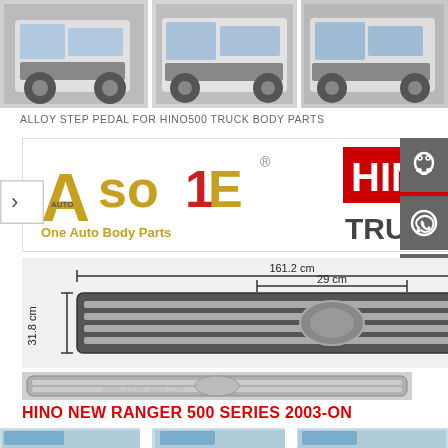[Figure (photo): Top strip showing multiple Hino truck front views in a horizontal row]
ALLOY STEP PEDAL FOR HINO500 TRUCK BODY PARTS
[Figure (logo): Asole Auto One Auto Body Parts logo on left, HINO TRUCKS logo on right]
[Figure (engineering-diagram): Technical diagram of truck grille with dimensions: 161.2 cm width, 29 cm inner width, 31.8 cm height. Below is a photo of the actual grille part with watermark www.asole-auto.com]
HINO NEW RANGER 500 SERIES 2003-ON
[Figure (photo): Bottom strip showing partial views of Hino trucks in blue/white]